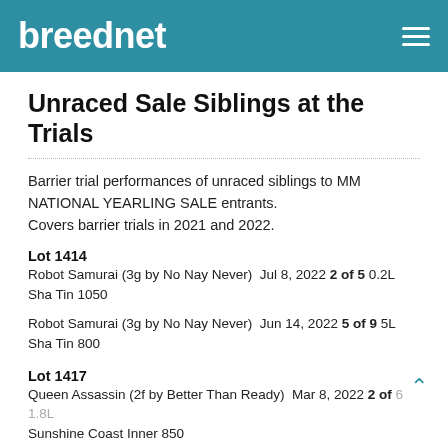breednet
Unraced Sale Siblings at the Trials
Barrier trial performances of unraced siblings to MM NATIONAL YEARLING SALE entrants. Covers barrier trials in 2021 and 2022.
Lot 1414
Robot Samurai (3g by No Nay Never)  Jul 8, 2022 2 of 5 0.2L Sha Tin 1050
Robot Samurai (3g by No Nay Never)  Jun 14, 2022 5 of 9 5L Sha Tin 800
Lot 1417
Queen Assassin (2f by Better Than Ready)  Mar 8, 2022 2 of 6 1.8L Sunshine Coast Inner 850
Queen Assassin (2f by Better Than Ready)  Feb 22, 2022 2 of 6 1.5L Doomben 900